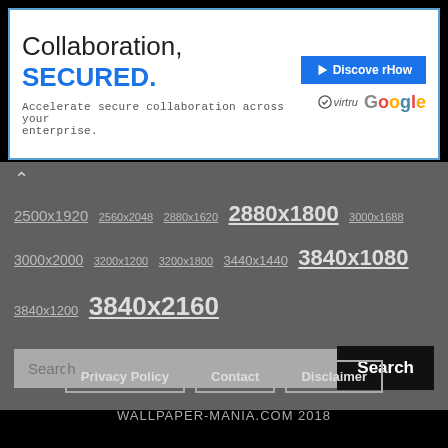[Figure (other): Advertisement banner: 'Collaboration, SECURED.' with blue button 'Discover How', Virtru and Google logos]
2500x1920 2560x2048 2880x1620 2880x1800 3000x1688 3000x2000 3200x1200 3200x1800 3440x1440 3840x1080 3840x1200 3840x2160
Search ...
Privacy Policy   Contact   Disclaimer
WALLPAPER-MANIA.COM 2018